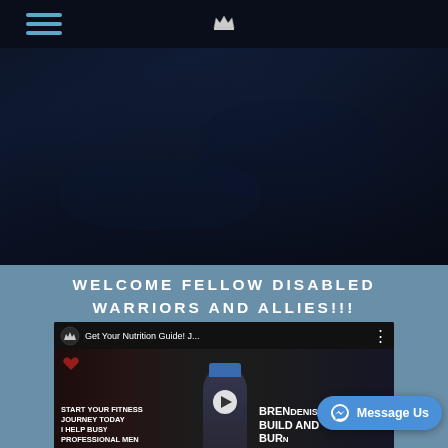[Figure (screenshot): Website screenshot showing navigation bar with hamburger menu icon (three horizontal blue lines) on the left, a small crown/logo icon in the center, on a very dark navy background]
[Figure (photo): Dark hero image section with very dark navy/near-black background, appears to show a dimly lit scene]
WELCOME FELLOW DISABLED WARRIORS AND ALLIES!!!
[Figure (screenshot): Embedded video thumbnail showing 'Get Your Nutrition Guide! J...' title with a logo, three-dot menu. Content shows 'START YOUR FITNESS JOURNEY TODAY I HELP BUSY PROFESSIONAL MEN' on the left, a person wearing an ASEL cap in the center, and 'BRENDENIS BUILD AND BURN' text on the right, with a play button in the middle]
Message Us